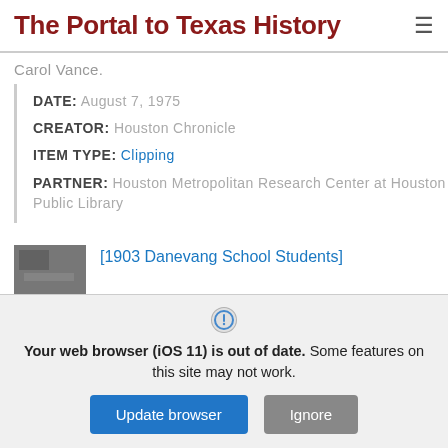The Portal to Texas History
Carol Vance.
DATE: August 7, 1975
CREATOR: Houston Chronicle
ITEM TYPE: Clipping
PARTNER: Houston Metropolitan Research Center at Houston Public Library
[1903 Danevang School Students]
The Portal to Texas History
Your web browser (iOS 11) is out of date. Some features on this site may not work.